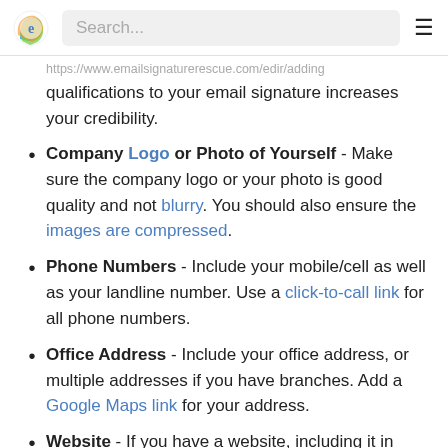Search...
qualifications to your email signature increases your credibility.
Company Logo or Photo of Yourself - Make sure the company logo or your photo is good quality and not blurry. You should also ensure the images are compressed.
Phone Numbers - Include your mobile/cell as well as your landline number. Use a click-to-call link for all phone numbers.
Office Address - Include your office address, or multiple addresses if you have branches. Add a Google Maps link for your address.
Website - If you have a website, including it in your email signature is a must! Add a hyperlink to it for